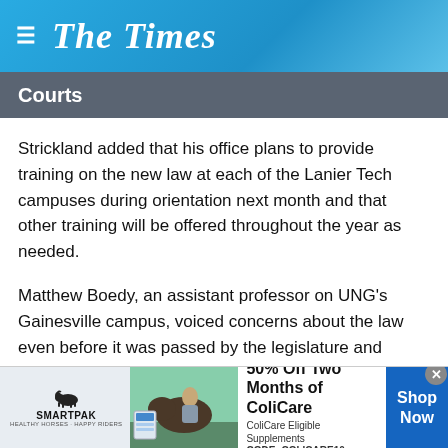The Times
Courts
Strickland added that his office plans to provide training on the new law at each of the Lanier Tech campuses during orientation next month and that other training will be offered throughout the year as needed.
Matthew Boedy, an assistant professor on UNG's Gainesville campus, voiced concerns about the law even before it was passed by the legislature and signed by Gov. Nathan Deal. He added that while he doesn't expect the law to be repealed, he believes it should be a topic of conversation in classes.
[Figure (other): SmartPak advertisement banner: 50% Off Two Months of ColiCare, ColiCare Eligible Supplements, CODE: COLICARE10, Shop Now button]